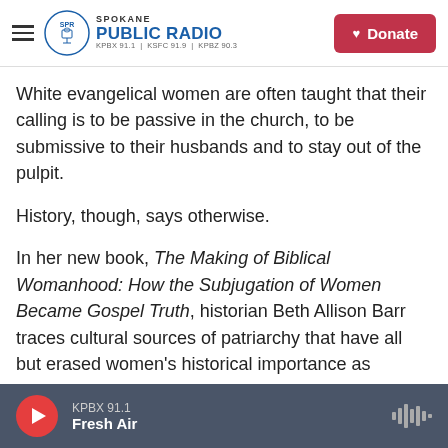Spokane Public Radio — KPBX 91.1 | KSFC 91.9 | KPBZ 90.3
White evangelical women are often taught that their calling is to be passive in the church, to be submissive to their husbands and to stay out of the pulpit.
History, though, says otherwise.
In her new book, The Making of Biblical Womanhood: How the Subjugation of Women Became Gospel Truth, historian Beth Allison Barr traces cultural sources of patriarchy that have all but erased women's historical importance as leaders of the faith.
KPBX 91.1 — Fresh Air